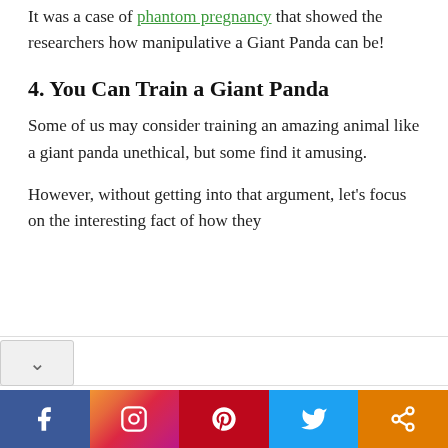It was a case of phantom pregnancy that showed the researchers how manipulative a Giant Panda can be!
4. You Can Train a Giant Panda
Some of us may consider training an amazing animal like a giant panda unethical, but some find it amusing.
However, without getting into that argument, let's focus on the interesting fact of how they
[Figure (infographic): Social media sharing buttons bar: Facebook (blue), Instagram (gradient), Pinterest (red), Twitter (light blue), Share/more (orange)]